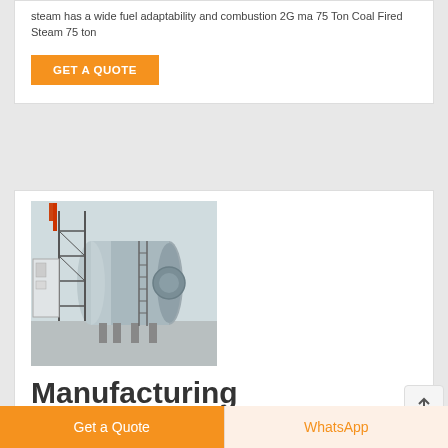steam has a wide fuel adaptability and combustion 2G ma 75 Ton Coal Fired Steam 75 ton
GET A QUOTE
[Figure (photo): Industrial oil steam boiler, horizontal cylindrical vessel with scaffolding and control panel in a factory setting]
Manufacturing Companies 10t Oil Steam Boiler
Manufacturing Companies 2t Oil Powered Steam Boiler Latvia
Get a Quote
WhatsApp